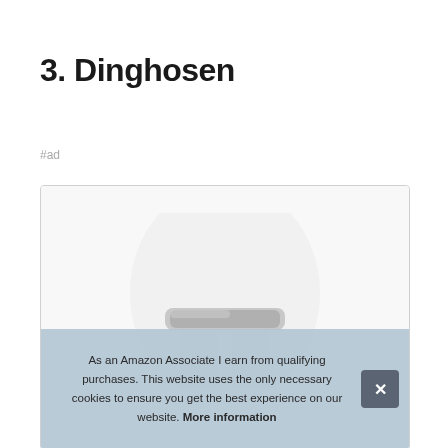3. Dinghosen
#ad
[Figure (photo): Product photo showing a piece of clothing (Dinghosen) displayed on a white/light background, partially obscured by a cookie consent overlay.]
As an Amazon Associate I earn from qualifying purchases. This website uses the only necessary cookies to ensure you get the best experience on our website. More information